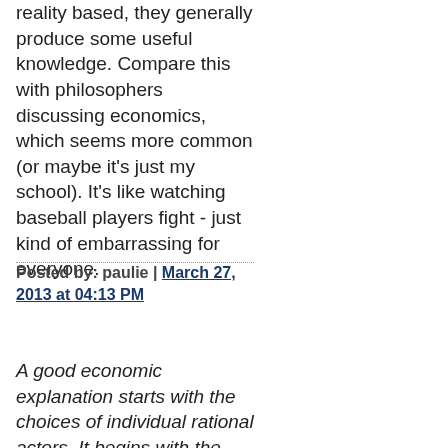reality based, they generally produce some useful knowledge. Compare this with philosophers discussing economics, which seems more common (or maybe it's just my school). It's like watching baseball players fight - just kind of embarrassing for everyone.
Posted by: paulie | March 27, 2013 at 04:13 PM
A good economic explanation starts with the choices of individual rational actors. It begins with the premise that people are, fundamentally, all